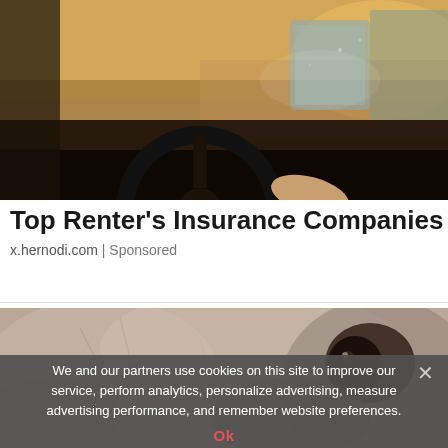[Figure (photo): Close-up of a person's hands on a car steering wheel, interior view with sunlit dusty landscape visible through windshield]
Top Renter's Insurance Companies
x.hernodi.com | Sponsored
[Figure (photo): Close-up of a cat's face, grey and white fur, one eye visible]
We and our partners use cookies on this site to improve our service, perform analytics, personalize advertising, measure advertising performance, and remember website preferences.
Ok